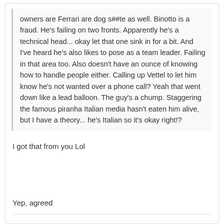owners are Ferrari are dog s##te as well. Binotto is a fraud. He's failing on two fronts. Apparently he's a technical head... okay let that one sink in for a bit. And I've heard he's also likes to pose as a team leader. Failing in that area too. Also doesn't have an ounce of knowing how to handle people either. Calling up Vettel to let him know he's not wanted over a phone call? Yeah that went down like a lead balloon. The guy's a chump. Staggering the famous piranha Italian media hasn't eaten him alive, but I have a theory... he's Italian so it's okay right!?
I got that from you Lol
Yep, agreed
Sakae
0
Posted September 9, 2020